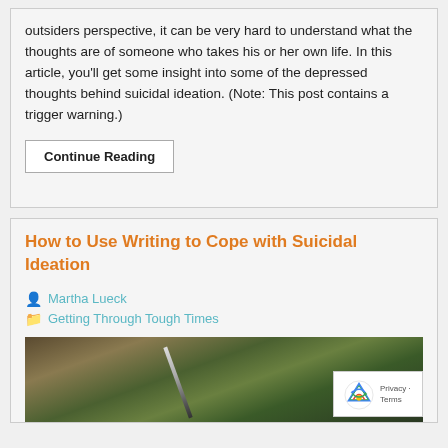outsiders perspective, it can be very hard to understand what the thoughts are of someone who takes his or her own life. In this article, you'll get some insight into some of the depressed thoughts behind suicidal ideation. (Note: This post contains a trigger warning.)
Continue Reading
How to Use Writing to Cope with Suicidal Ideation
Martha Lueck
Getting Through Tough Times
[Figure (photo): A hand holding a pen/pencil against a blurred natural green background]